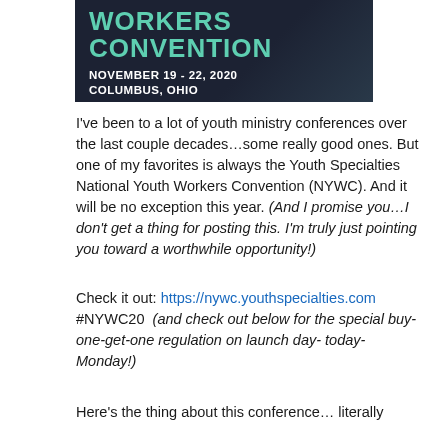[Figure (illustration): Dark background banner image for the National Youth Workers Convention showing the text 'WORKERS CONVENTION' in teal/white letters, 'NOVEMBER 19 - 22, 2020' and 'COLUMBUS, OHIO' in white bold text]
I've been to a lot of youth ministry conferences over the last couple decades…some really good ones. But one of my favorites is always the Youth Specialties National Youth Workers Convention (NYWC). And it will be no exception this year. (And I promise you…I don't get a thing for posting this. I'm truly just pointing you toward a worthwhile opportunity!)
Check it out: https://nywc.youthspecialties.com
#NYWC20  (and check out below for the special buy-one-get-one regulation on launch day- today- Monday!)
Here's the thing about this conference… literally